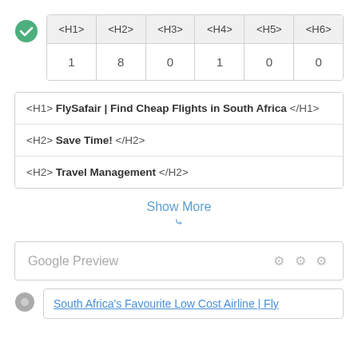| <H1> | <H2> | <H3> | <H4> | <H5> | <H6> |
| --- | --- | --- | --- | --- | --- |
| 1 | 8 | 0 | 1 | 0 | 0 |
| <H1> FlySafair | Find Cheap Flights in South Africa </H1> |
| <H2> Save Time! </H2> |
| <H2> Travel Management </H2> |
Show More
Google Preview
South Africa's Favourite Low Cost Airline | Fly